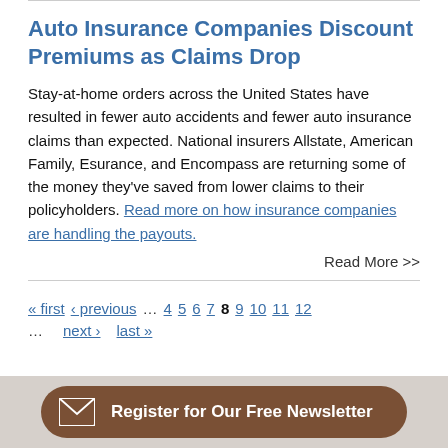Auto Insurance Companies Discount Premiums as Claims Drop
Stay-at-home orders across the United States have resulted in fewer auto accidents and fewer auto insurance claims than expected. National insurers Allstate, American Family, Esurance, and Encompass are returning some of the money they've saved from lower claims to their policyholders. Read more on how insurance companies are handling the payouts.
Read More >>
« first ‹ previous … 4 5 6 7 8 9 10 11 12 … next › last »
Register for Our Free Newsletter